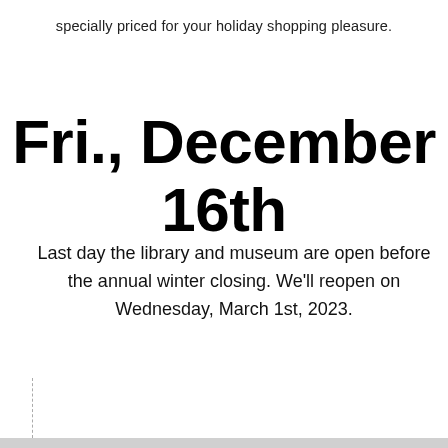specially priced for your holiday shopping pleasure.
Fri., December 16th
Last day the library and museum are open before the annual winter closing. We'll reopen on Wednesday, March 1st, 2023.